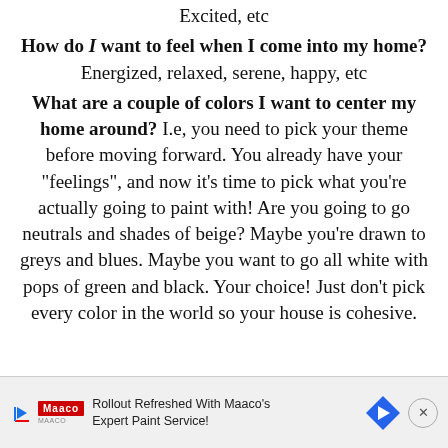Excited, etc
How do I want to feel when I come into my home?
Energized, relaxed, serene, happy, etc
What are a couple of colors I want to center my home around? I.e, you need to pick your theme before moving forward. You already have your “feelings”, and now it’s time to pick what you’re actually going to paint with! Are you going to go neutrals and shades of beige? Maybe you’re drawn to greys and blues. Maybe you want to go all white with pops of green and black. Your choice! Just don’t pick every color in the world so your house is cohesive.
[Figure (other): Advertisement banner for Maaco paint service: 'Rollout Refreshed With Maaco's Expert Paint Service!' with Maaco logo, play button, blue diamond navigation icon, and close button]